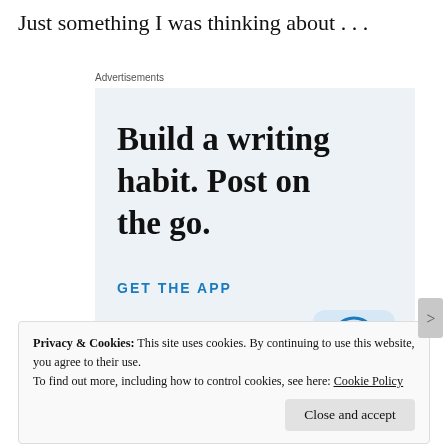Just something I was thinking about . . .
Advertisements
[Figure (screenshot): WordPress app advertisement with text 'Build a writing habit. Post on the go.' and 'GET THE APP' call to action with WordPress logo]
Privacy & Cookies: This site uses cookies. By continuing to use this website, you agree to their use. To find out more, including how to control cookies, see here: Cookie Policy
Close and accept